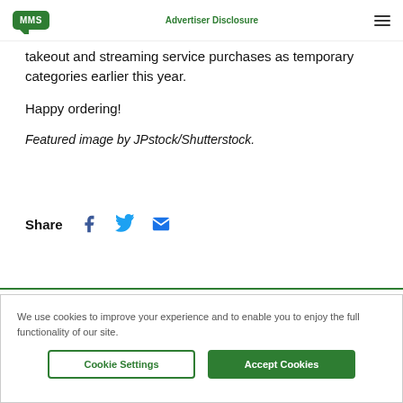MMS | Advertiser Disclosure
takeout and streaming service purchases as temporary categories earlier this year.
Happy ordering!
Featured image by JPstock/Shutterstock.
Share
We use cookies to improve your experience and to enable you to enjoy the full functionality of our site.
Cookie Settings | Accept Cookies